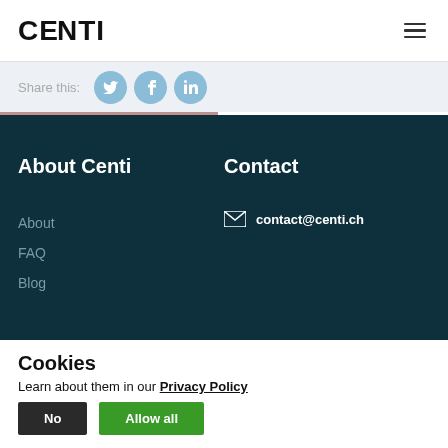CENTI
Share this:
[Figure (infographic): Social share bar with Twitter, Facebook, and LinkedIn circular icon buttons]
About Centi
About
FAQ
Blog
Contact
contact@centi.ch
Cookies
Learn about them in our Privacy Policy
No
Allow all